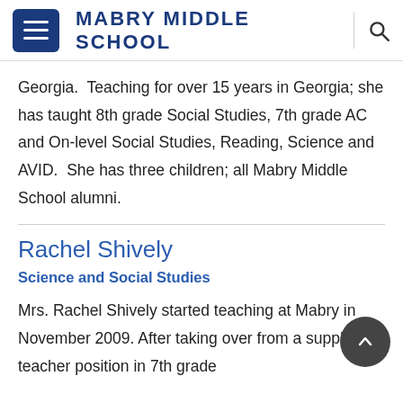MABRY MIDDLE SCHOOL
Georgia.  Teaching for over 15 years in Georgia; she has taught 8th grade Social Studies, 7th grade AC and On-level Social Studies, Reading, Science and AVID.  She has three children; all Mabry Middle School alumni.
Rachel Shively
Science and Social Studies
Mrs. Rachel Shively started teaching at Mabry in November 2009. After taking over from a supply teacher position in 7th grade